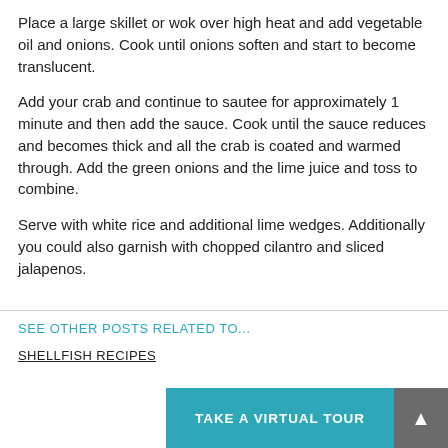Place a large skillet or wok over high heat and add vegetable oil and onions. Cook until onions soften and start to become translucent.
Add your crab and continue to sautee for approximately 1 minute and then add the sauce. Cook until the sauce reduces and becomes thick and all the crab is coated and warmed through. Add the green onions and the lime juice and toss to combine.
Serve with white rice and additional lime wedges. Additionally you could also garnish with chopped cilantro and sliced jalapenos.
SEE OTHER POSTS RELATED TO...
SHELLFISH RECIPES